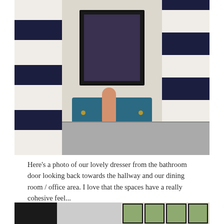[Figure (photo): Interior bedroom photo showing a teal/blue dresser with a flat-screen TV on top, flanked by navy and white striped curtains. A hand with red nail polish is visible, and a bed is in the foreground.]
Here’s a photo of our lovely dresser from the bathroom door looking back towards the hallway and our dining room / office area.  I love that the spaces have a really cohesive feel...
[Figure (photo): Bottom strip photo showing a dark doorway on the left, a hallway with shelving in the middle, and framed artwork on a wall on the right.]